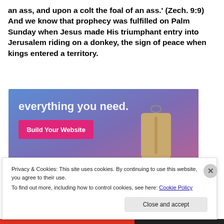an ass, and upon a colt the foal of an ass.' (Zech. 9:9) And we know that prophecy was fulfilled on Palm Sunday when Jesus made His triumphant entry into Jerusalem riding on a donkey, the sign of peace when kings entered a territory.
[Figure (screenshot): Advertisement banner with gradient purple/blue background showing 'everything you need.' text and a 'Build Your Website' pink button, with a luggage tag graphic on the right.]
Privacy & Cookies: This site uses cookies. By continuing to use this website, you agree to their use.
To find out more, including how to control cookies, see here: Cookie Policy
Close and accept